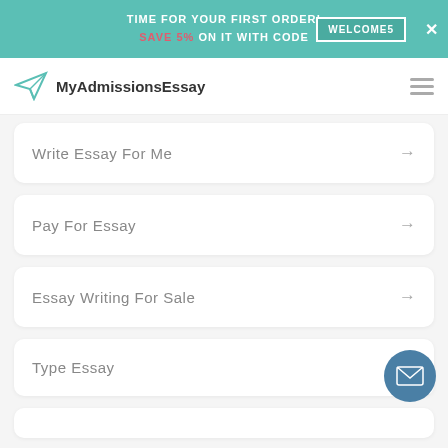TIME FOR YOUR FIRST ORDER! SAVE 5% ON IT WITH CODE WELCOME5
[Figure (logo): MyAdmissionsEssay logo with paper plane icon]
Write Essay For Me →
Pay For Essay →
Essay Writing For Sale →
Type Essay →